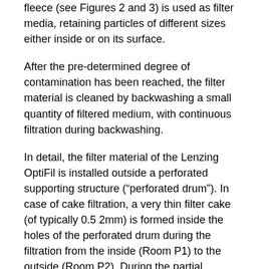fleece (see Figures 2 and 3) is used as filter media, retaining particles of different sizes either inside or on its surface.
After the pre-determined degree of contamination has been reached, the filter material is cleaned by backwashing a small quantity of filtered medium, with continuous filtration during backwashing.
In detail, the filter material of the Lenzing OptiFil is installed outside a perforated supporting structure (“perforated drum”). In case of cake filtration, a very thin filter cake (of typically 0.5 2mm) is formed inside the holes of the perforated drum during the filtration from the inside (Room P1) to the outside (Room P2). During the partial backwash from “Room P2” (Filtrate) to “Room P3” (Reject), the cake is completely discharged within a few seconds, using a small amount of filtrate to force it out of the filter. New cake formation already starts during backwash and is typically finished resultin gin clean filtrate within less than 10